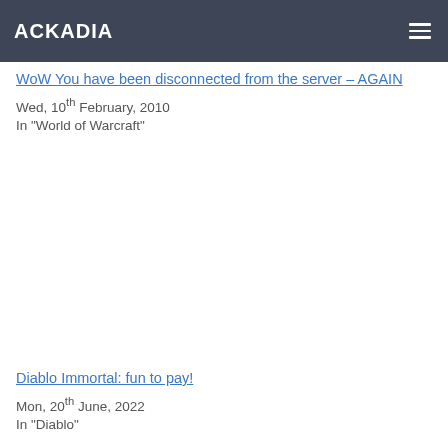ACKADIA
WoW You have been disconnected from the server – AGAIN
Wed, 10th February, 2010
In "World of Warcraft"
Diablo Immortal: fun to pay!
Mon, 20th June, 2022
In "Diablo"